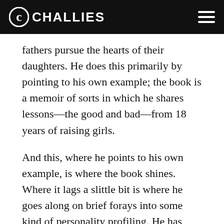CHALLIES
fathers pursue the hearts of their daughters. He does this primarily by pointing to his own example; the book is a memoir of sorts in which he shares lessons—the good and bad—from 18 years of raising girls.
And this, where he points to his own example, is where the book shines. Where it lags a slittle bit is where he goes along on brief forays into some kind of personality profiling. He has great advice on pursuing daughters, from asking them on a date (He just calls them and asks if they'd like to go on a date with daddy that